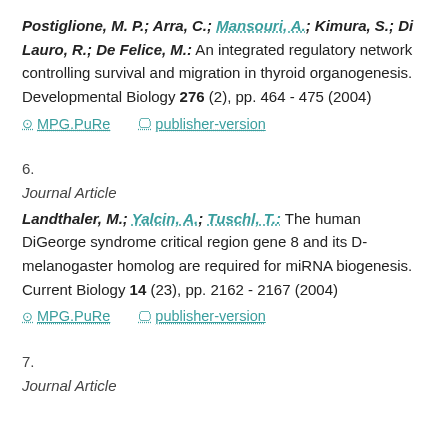Postiglione, M. P.; Arra, C.; Mansouri, A.; Kimura, S.; Di Lauro, R.; De Felice, M.: An integrated regulatory network controlling survival and migration in thyroid organogenesis. Developmental Biology 276 (2), pp. 464 - 475 (2004)
MPG.PuRe   publisher-version
6.
Journal Article
Landthaler, M.; Yalcin, A.; Tuschl, T.: The human DiGeorge syndrome critical region gene 8 and its D-melanogaster homolog are required for miRNA biogenesis. Current Biology 14 (23), pp. 2162 - 2167 (2004)
MPG.PuRe   publisher-version
7.
Journal Article